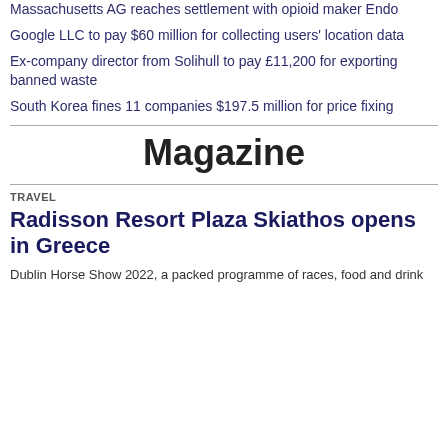Massachusetts AG reaches settlement with opioid maker Endo
Google LLC to pay $60 million for collecting users' location data
Ex-company director from Solihull to pay £11,200 for exporting banned waste
South Korea fines 11 companies $197.5 million for price fixing
Magazine
TRAVEL
Radisson Resort Plaza Skiathos opens in Greece
Dublin Horse Show 2022, a packed programme of races, food and drink